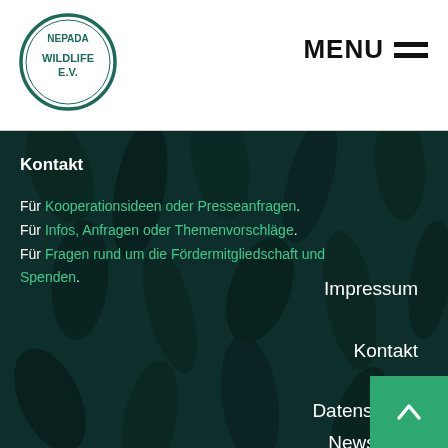[Figure (logo): Nepada Wildlife E.V. circular logo with teal border and text]
MENU ≡
[Figure (photo): Dark teal wildlife animal fur/skin texture background]
Kontakt
Für Kooperationsideen oder Presseanfragen. Für Infos, Anfragen oder Themenvorschläge. Für Fragen rund um die Fördermitgliedschaft und Spenden.
Impressum
Kontakt
Datenschutz
Newsle…